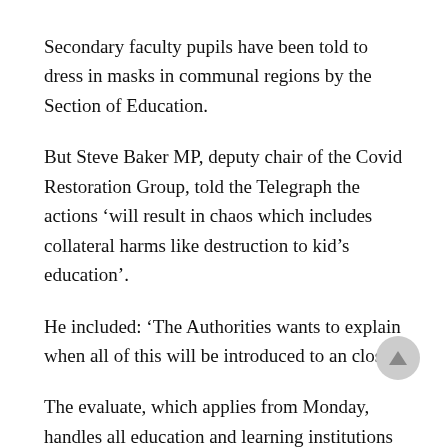Secondary faculty pupils have been told to dress in masks in communal regions by the Section of Education.
But Steve Baker MP, deputy chair of the Covid Restoration Group, told the Telegraph the actions ‘will result in chaos which includes collateral harms like destruction to kid’s education’.
He included: ‘The Authorities wants to explain when all of this will be introduced to an close.’
The evaluate, which applies from Monday, handles all education and learning institutions such as universities, as well as childcare settings this kind of as early a long time care.
The steerage does not indicate masks should be worn in